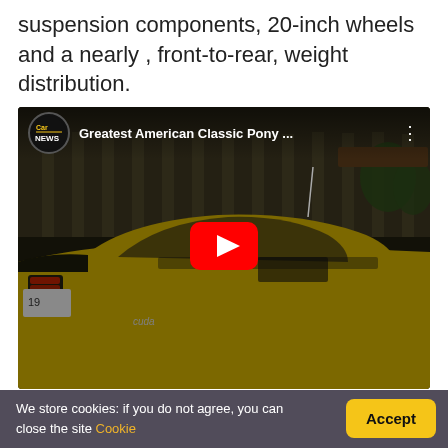suspension components, 20-inch wheels and a nearly , front-to-rear, weight distribution.
[Figure (screenshot): Embedded YouTube video thumbnail showing a classic yellow American muscle car (Plymouth 'Cuda) parked near a corrugated metal building, with video title 'Greatest American Classic Pony ...' and a channel logo for Car News, plus a red YouTube play button in the center.]
We store cookies: if you do not agree, you can close the site Cookie